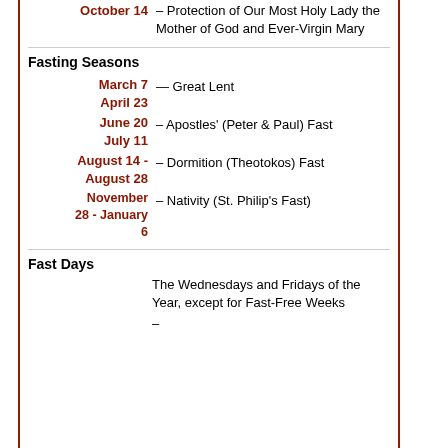October 14 – Protection of Our Most Holy Lady the Mother of God and Ever-Virgin Mary
Fasting Seasons
March 7 – April 23 — Great Lent
June 20 - July 11 – Apostles' (Peter & Paul) Fast
August 14 - August 28 – Dormition (Theotokos) Fast
November 28 - January 6 – Nativity (St. Philip's Fast)
Fast Days
The Wednesdays and Fridays of the Year, except for Fast-Free Weeks
–